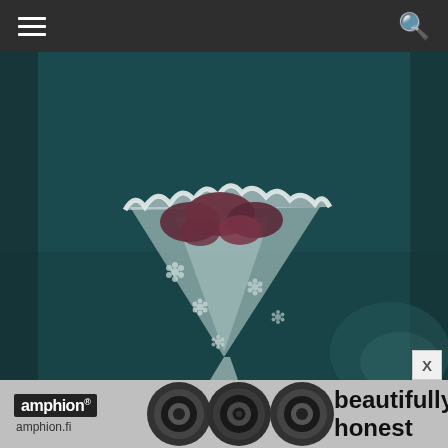[Figure (screenshot): Mobile website navigation bar with hamburger menu icon on left and search icon on right, dark gray background]
[Figure (photo): A bouquet of small pink/red dried flowers wrapped in clear cellophane with white floral print pattern, against a dark teal background]
[Figure (photo): Advertisement banner for Amphion speakers showing speaker drivers, Amphion logo, amphion.fi URL, and text 'beautifully honest']